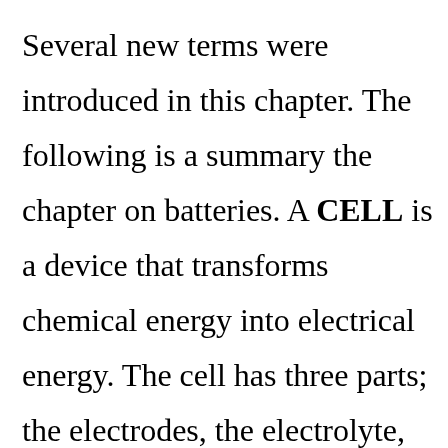Several new terms were introduced in this chapter. The following is a summary the chapter on batteries. A CELL is a device that transforms chemical energy into electrical energy. The cell has three parts; the electrodes, the electrolyte, and the container. There are two basic cells: primary and secondary.